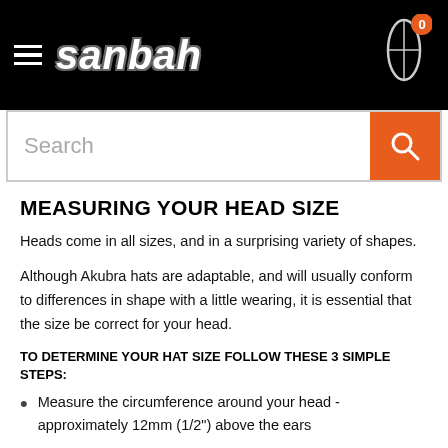sanbah
MEASURING YOUR HEAD SIZE
Heads come in all sizes, and in a surprising variety of shapes.
Although Akubra hats are adaptable, and will usually conform to differences in shape with a little wearing, it is essential that the size be correct for your head.
TO DETERMINE YOUR HAT SIZE FOLLOW THESE 3 SIMPLE STEPS:
Measure the circumference around your head - approximately 12mm (1/2") above the ears
Keep the dressmaker tape level and firm, across the temple and ...